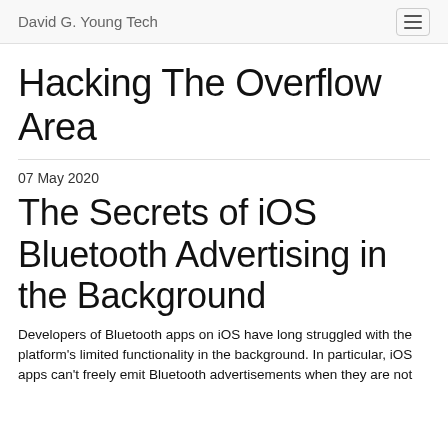David G. Young Tech
Hacking The Overflow Area
07 May 2020
The Secrets of iOS Bluetooth Advertising in the Background
Developers of Bluetooth apps on iOS have long struggled with the platform's limited functionality in the background. In particular, iOS apps can't freely emit Bluetooth advertisements when they are not